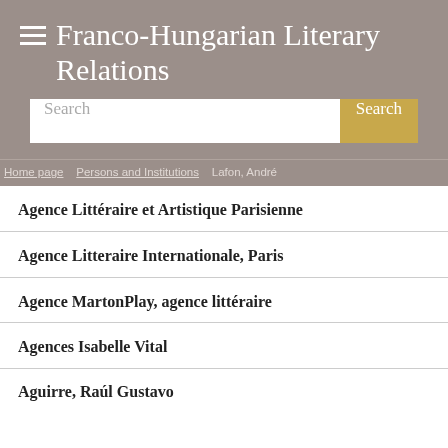Franco-Hungarian Literary Relations
Search
Home page > Persons and Institutions > Lafon, André
Agence Littéraire et Artistique Parisienne
Agence Litteraire Internationale, Paris
Agence MartonPlay, agence littéraire
Agences Isabelle Vital
Aguirre, Raúl Gustavo